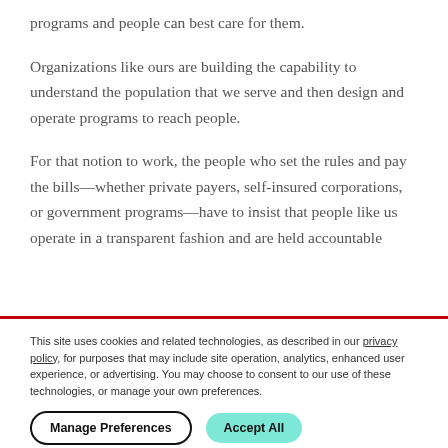programs and people can best care for them.
Organizations like ours are building the capability to understand the population that we serve and then design and operate programs to reach people.
For that notion to work, the people who set the rules and pay the bills—whether private payers, self-insured corporations, or government programs—have to insist that people like us operate in a transparent fashion and are held accountable
This site uses cookies and related technologies, as described in our privacy policy, for purposes that may include site operation, analytics, enhanced user experience, or advertising. You may choose to consent to our use of these technologies, or manage your own preferences.